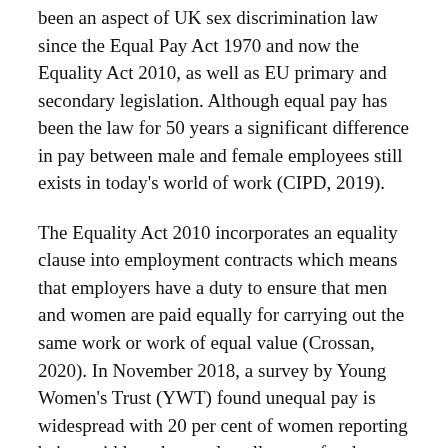been an aspect of UK sex discrimination law since the Equal Pay Act 1970 and now the Equality Act 2010, as well as EU primary and secondary legislation. Although equal pay has been the law for 50 years a significant difference in pay between male and female employees still exists in today's world of work (CIPD, 2019).
The Equality Act 2010 incorporates an equality clause into employment contracts which means that employers have a duty to ensure that men and women are paid equally for carrying out the same work or work of equal value (Crossan, 2020). In November 2018, a survey by Young Women's Trust (YWT) found unequal pay is widespread with 20 per cent of women reporting being paid less than male colleagues for the same or similar work (Gallagher, 2019).